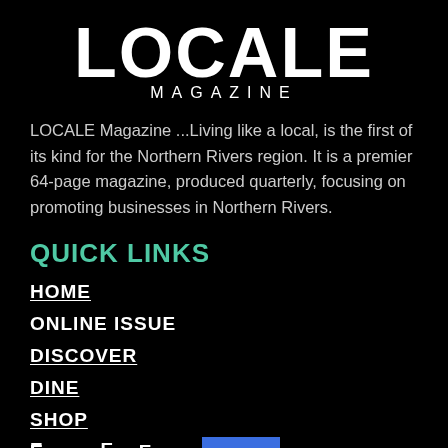LOCALE MAGAZINE
LOCALE Magazine ...Living like a local, is the first of its kind for the Northern Rivers region. It is a premier 64-page magazine, produced quarterly, focusing on promoting businesses in Northern Rivers.
QUICK LINKS
HOME
ONLINE ISSUE
DISCOVER
DINE
SHOP
ESCAPE
[Figure (other): Blue back-to-top button with upward chevron arrow]
CONTACT